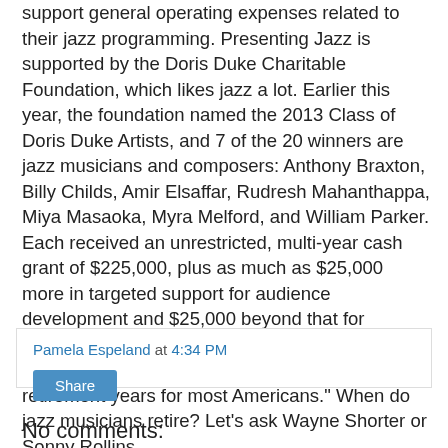support general operating expenses related to their jazz programming. Presenting Jazz is supported by the Doris Duke Charitable Foundation, which likes jazz a lot. Earlier this year, the foundation named the 2013 Class of Doris Duke Artists, and 7 of the 20 winners are jazz musicians and composers: Anthony Braxton, Billy Childs, Amir Elsaffar, Rudresh Mahanthappa, Miya Masaoka, Myra Melford, and William Parker. Each received an unrestricted, multi-year cash grant of $225,000, plus as much as $25,000 more in targeted support for audience development and $25,000 beyond that for personal reserves or creative exploration during (as the Foundation puts it) "what are commonly retirement years for most Americans." When do jazz musicians retire? Let's ask Wayne Shorter or Sonny Rollins.
Pamela Espeland at 4:34 PM
Share
No comments: